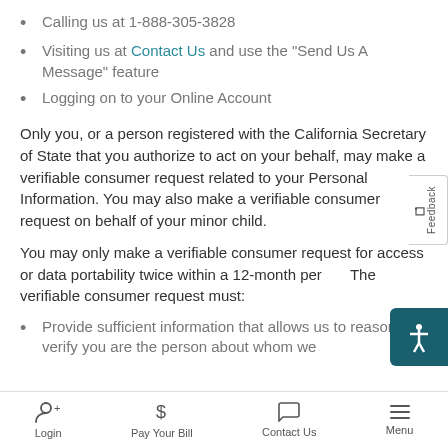Calling us at 1-888-305-3828
Visiting us at Contact Us and use the "Send Us A Message" feature
Logging on to your Online Account
Only you, or a person registered with the California Secretary of State that you authorize to act on your behalf, may make a verifiable consumer request related to your Personal Information. You may also make a verifiable consumer request on behalf of your minor child.
You may only make a verifiable consumer request for access or data portability twice within a 12-month period. The verifiable consumer request must:
Provide sufficient information that allows us to reasonably verify you are the person about whom we